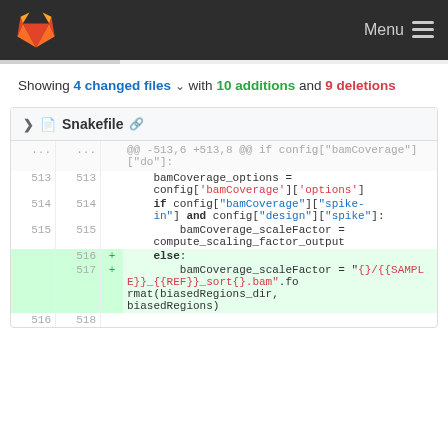GitLab — Menu
Showing 4 changed files with 10 additions and 9 deletions
| old | new | op | code |
| --- | --- | --- | --- |
| ... | ... |  | @@ -513,6 +513,8 @@ if config["bamCoverage"]["do"]: |
| 513 | 513 |  |     bamCoverage_options = config['bamCoverage']['options'] |
| 514 | 514 |  |     if config["bamCoverage"]["spike-in"] and config["design"]["spike"]: |
| 515 | 515 |  |         bamCoverage_scaleFactor = compute_scaling_factor_output |
|  | 516 | + |     else: |
|  | 517 | + |         bamCoverage_scaleFactor = "{}/{SAMPLE}}_{REF}}_sort{}.bam".format(biasedRegions_dir, biasedRegions) |
| 516 | 518 |  |  |